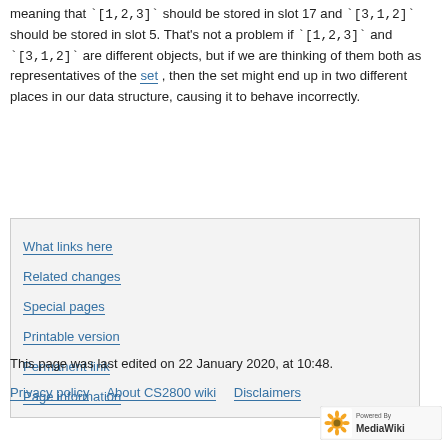meaning that `[1,2,3]` should be stored in slot 17 and `[3,1,2]` should be stored in slot 5. That's not a problem if `[1,2,3]` and `[3,1,2]` are different objects, but if we are thinking of them both as representatives of the set , then the set might end up in two different places in our data structure, causing it to behave incorrectly.
What links here
Related changes
Special pages
Printable version
Permanent link
Page information
This page was last edited on 22 January 2020, at 10:48.
Privacy policy   About CS2800 wiki   Disclaimers